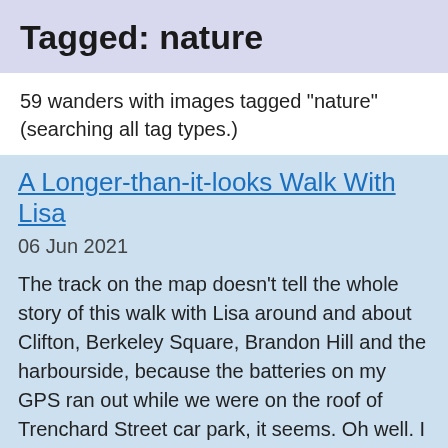Tagged: nature
59 wanders with images tagged "nature" (searching all tag types.)
A Longer-than-it-looks Walk With Lisa
06 Jun 2021
The track on the map doesn't tell the whole story of this walk with Lisa around and about Clifton, Berkeley Square, Brandon Hill and the harbourside, because the batteries on my GPS ran out while we were on the roof of Trenchard Street car park, it seems. Oh well. I think I did most of the area I was interested in finishing off around the University; there were only a few new bits around Brandon Hill that won't be on the track, and I can easily do them again.
Still, technology woes aside it was a nice walk, albeit a bit warm for climbing all those hills, and sat on the